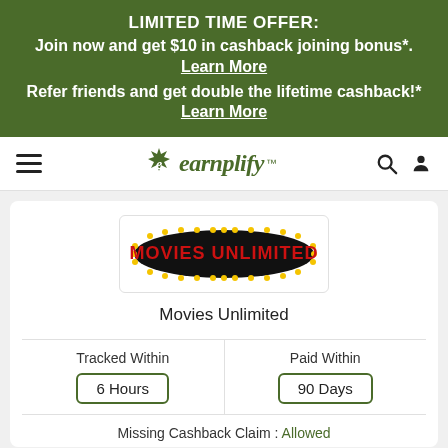LIMITED TIME OFFER: Join now and get $10 in cashback joining bonus*. Learn More Refer friends and get double the lifetime cashback!* Learn More
[Figure (logo): Earnplify logo with leaf icon and navigation bar]
[Figure (logo): Movies Unlimited logo - oval shape with yellow dots border and red text on black background]
Movies Unlimited
Tracked Within
6 Hours
Paid Within
90 Days
Missing Cashback Claim : Allowed